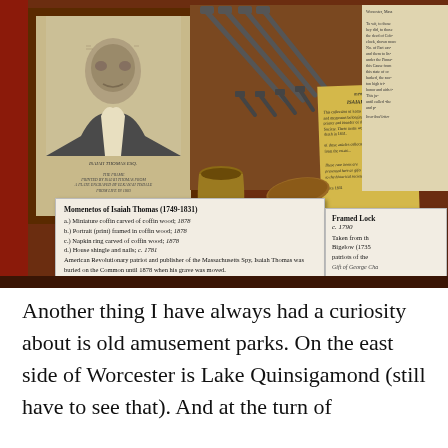[Figure (photo): Museum display case showing mementos of Isaiah Thomas (1749-1831): a framed portrait print, historical nails on a wooden board, a small mortar, a wooden piece on a stand, document cards with labels. Two label cards are visible: one describing 'Momenetos of Isaiah Thomas (1749-1831)' listing items a-d, and a partial card on the right for 'Framed Lock c. 1790'.]
Another thing I have always had a curiosity about is old amusement parks. On the east side of Worcester is Lake Quinsigamond (still have to see that). And at the turn of